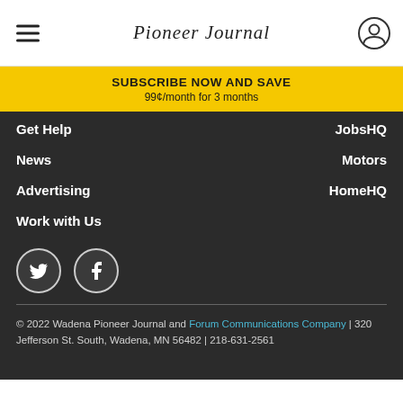Pioneer Journal
SUBSCRIBE NOW AND SAVE
99¢/month for 3 months
Get Help
News
Advertising
Work with Us
JobsHQ
Motors
HomeHQ
[Figure (logo): Twitter and Facebook social media icons (circle outlines with bird and f logos)]
© 2022 Wadena Pioneer Journal and Forum Communications Company | 320 Jefferson St. South, Wadena, MN 56482 | 218-631-2561